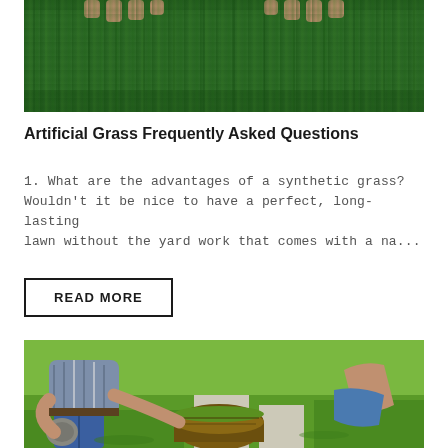[Figure (photo): Close-up photo of hands pressing down on artificial green grass turf]
Artificial Grass Frequently Asked Questions
1. What are the advantages of a synthetic grass? Wouldn't it be nice to have a perfect, long-lasting lawn without the yard work that comes with a na...
READ MORE
[Figure (photo): Photo of a worker laying sod rolls on a lawn with another worker visible in the background]